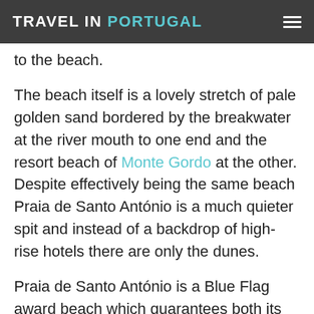TRAVEL IN PORTUGAL
to the beach.
The beach itself is a lovely stretch of pale golden sand bordered by the breakwater at the river mouth to one end and the resort beach of Monte Gordo at the other. Despite effectively being the same beach Praia de Santo António is a much quieter spit and instead of a backdrop of high-rise hotels there are only the dunes.
Praia de Santo António is a Blue Flag award beach which guarantees both its cleanliness and a certain level of facilities. There is a